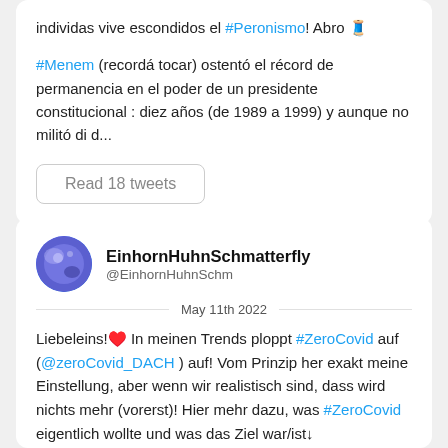individas vive escondidos el #Peronismo! Abro 🧵
#Menem (recordá tocar) ostentó el récord de permanencia en el poder de un presidente constitucional : diez años (de 1989 a 1999) y aunque no militó di d...
Read 18 tweets
EinhornHuhnSchmatterfly
@EinhornHuhnSchm
May 11th 2022
Liebeleins!♥️ In meinen Trends ploppt #ZeroCovid auf (@zeroCovid_DACH ) auf! Vom Prinzip her exakt meine Einstellung, aber wenn wir realistisch sind, dass wird nichts mehr (vorerst)! Hier mehr dazu, was #ZeroCovid eigentlich wollte und was das Ziel war/ist↓